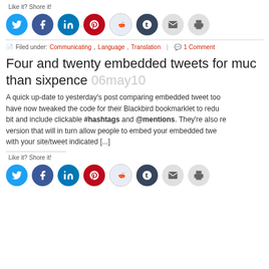Like it? Shore it!
[Figure (infographic): Row of social media share buttons: Twitter, Facebook, LinkedIn, Pinterest, Reddit, Tumblr, Email, Print]
Filed under: Communicating, Language, Translation | 1 Comment
Four and twenty embedded tweets for much than sixpence 06may10
A quick up-date to yesterday's post comparing embedded tweet too have now tweaked the code for their Blackbird bookmarklet to redu bit and include clickable #hashtags and @mentions. They're also re version that will in turn allow people to embed your embedded twe with your site/tweet indicated [...]
Like it? Shore it!
[Figure (infographic): Row of social media share buttons: Twitter, Facebook, LinkedIn, Pinterest, Reddit, Tumblr, Email, Print]